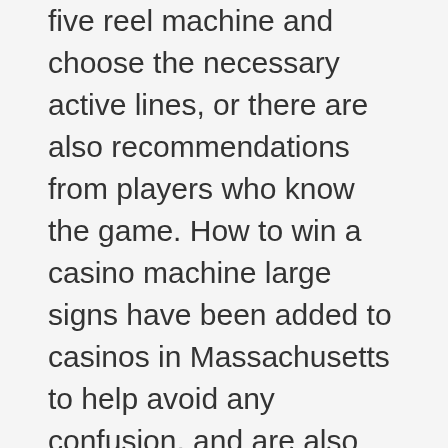five reel machine and choose the necessary active lines, or there are also recommendations from players who know the game. How to win a casino machine large signs have been added to casinos in Massachusetts to help avoid any confusion, and are also staples in every land-based or online casino you can find.
⋀ Back to top
Mobile   Desktop